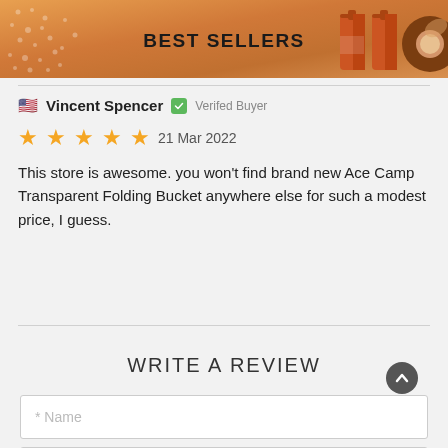[Figure (infographic): Orange gradient banner header with 'BEST SELLERS' text in the center, decorative dot pattern on the left, and two product images (orange bottle and chocolate truffle) on the right]
Vincent Spencer  Verifed Buyer
21 Mar 2022
This store is awesome. you won't find brand new Ace Camp Transparent Folding Bucket anywhere else for such a modest price, I guess.
WRITE A REVIEW
* Name
* Email